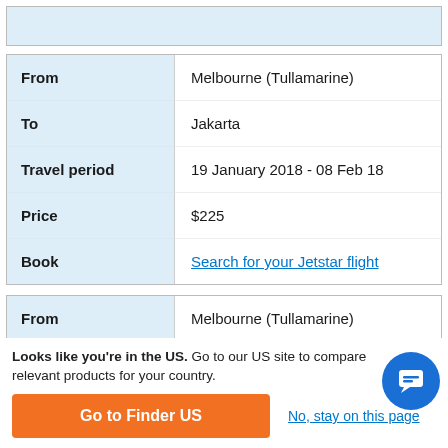| Field | Value |
| --- | --- |
| From | Melbourne (Tullamarine) |
| To | Jakarta |
| Travel period | 19 January 2018 - 08 Feb 18 |
| Price | $225 |
| Book | Search for your Jetstar flight |
| Field | Value |
| --- | --- |
| From | Melbourne (Tullamarine) |
| To | Jakarta |
| Travel period | 27 February 2018 - 22 March 2018 |
Looks like you're in the US. Go to our US site to compare relevant products for your country.
Go to Finder US
No, stay on this page